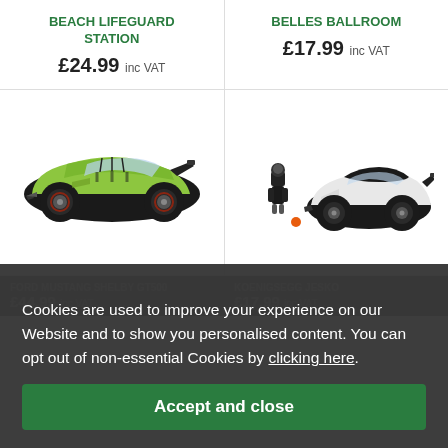BEACH LIFEGUARD STATION
£24.99 inc VAT
BELLES BALLROOM
£17.99 inc VAT
[Figure (photo): LEGO Technic lime green Ford Mustang Shelby GT500 car model]
[Figure (photo): LEGO Speed Champions white Koenigsegg Jesko car model with black driver minifigure]
FORD MUSTANG SHELBY GT500
£44.99 inc VAT
KOENIGSEGG JESKO
£17.99 inc VAT
Cookies are used to improve your experience on our Website and to show you personalised content. You can opt out of non-essential Cookies by clicking here.
Accept and close